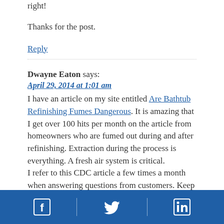right!
Thanks for the post.
Reply
Dwayne Eaton says:
April 29, 2014 at 1:01 am
I have an article on my site entitled Are Bathtub Refinishing Fumes Dangerous. It is amazing that I get over 100 hits per month on the article from homeowners who are fumed out during and after refinishing. Extraction during the process is everything. A fresh air system is critical.
I refer to this CDC article a few times a month when answering questions from customers. Keep up the good work!
[Figure (infographic): Footer bar with Facebook, Twitter, and LinkedIn social media icons on a blue background]